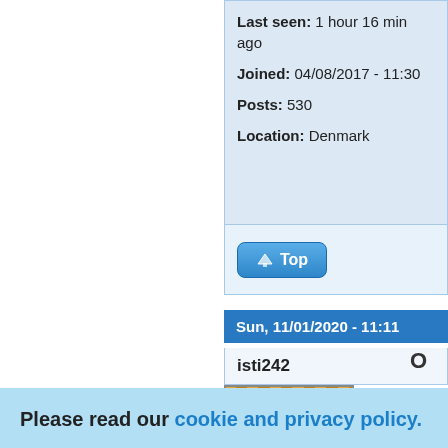Last seen: 1 hour 16 min ago
Joined: 04/08/2017 - 11:30
Posts: 530
Location: Denmark
Top
Sun, 11/01/2020 - 11:11
isti242
O
Please read our cookie and privacy policy.
By continuing to use this site you are agreeing to our cookie and privacy policy. No, give me more info
OK, I agree